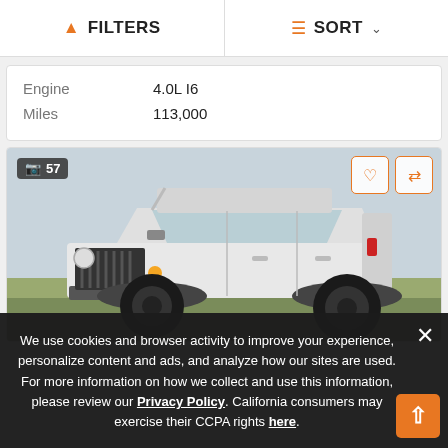FILTERS | SORT
| Field | Value |
| --- | --- |
| Engine | 4.0L I6 |
| Miles | 113,000 |
[Figure (photo): White Jeep Wrangler Unlimited SUV photographed outdoors on grass, front three-quarter view showing lifted suspension and black off-road tires. Photo count badge shows 57 photos.]
We use cookies and browser activity to improve your experience, personalize content and ads, and analyze how our sites are used. For more information on how we collect and use this information, please review our Privacy Policy. California consumers may exercise their CCPA rights here.